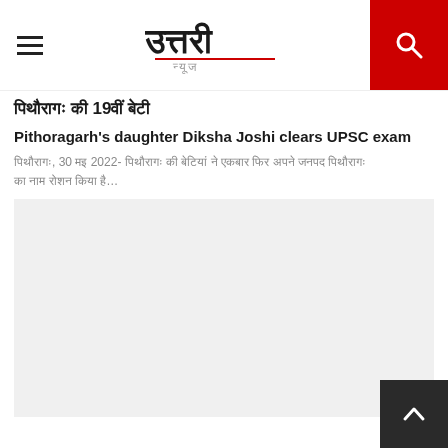Uttari News logo with hamburger menu and search button
पिथौरागढ़ की 19वीं बेटी
Pithoragarh's daughter Diksha Joshi clears UPSC exam
पिथौरागढ़, 30 मई 2022- पिथौरागढ़ की बेटियां ने एकबार फिर अपने जनपद पिथौरागढ़ का नाम रोशन किया है…
[Figure (photo): Light gray image placeholder area below the article text]